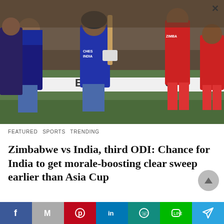[Figure (photo): Indian cricket players in blue uniforms walking on field after match, with Zimbabwe players in red uniform in background. Stadium advertisement board visible.]
FEATURED  SPORTS  TRENDING
Zimbabwe vs India, third ODI: Chance for India to get morale-boosting clear sweep earlier than Asia Cup
India and Zimbabwe are set to lock horns within the third match of